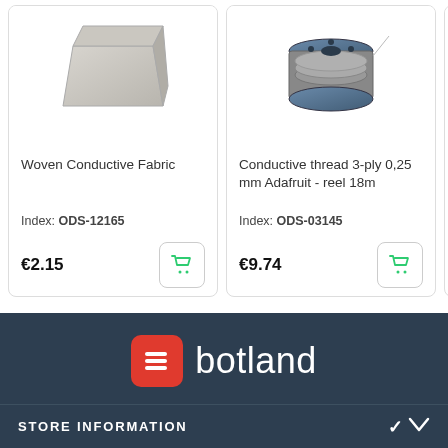[Figure (photo): Product card showing woven conductive fabric, a pale grey folded material]
Woven Conductive Fabric
Index: ODS-12165
€2.15
[Figure (photo): Product card showing a spool of conductive thread 3-ply 0.25mm Adafruit reel 18m]
Conductive thread 3-ply 0,25 mm Adafruit - reel 18m
Index: ODS-03145
€9.74
[Figure (photo): Partial product card showing conductive thread 0.40mm spool, partially cropped]
Condu 0,40m spool
Index:
€4.67
[Figure (logo): Botland store logo - red square icon with white B symbol and botland text in white on dark navy footer]
STORE INFORMATION